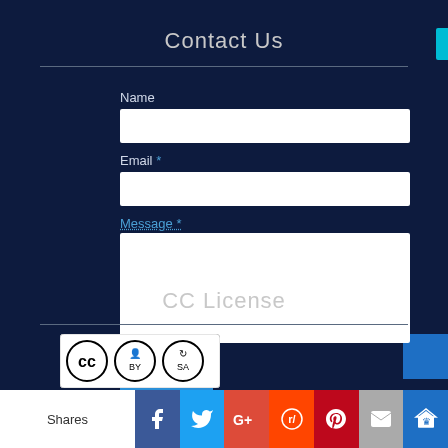Contact Us
Name
Email *
Message *
Send
CC License
[Figure (logo): Creative Commons CC BY-SA license badge]
Shares
[Figure (infographic): Social share buttons: Facebook, Twitter, Google+, Reddit, Pinterest, Email, Kingly]